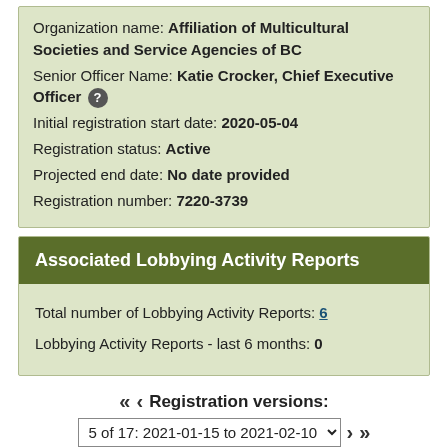Organization name: Affiliation of Multicultural Societies and Service Agencies of BC
Senior Officer Name: Katie Crocker, Chief Executive Officer ?
Initial registration start date: 2020-05-04
Registration status: Active
Projected end date: No date provided
Registration number: 7220-3739
Associated Lobbying Activity Reports
Total number of Lobbying Activity Reports: 6
Lobbying Activity Reports - last 6 months: 0
<< < Registration versions:
5 of 17: 2021-01-15 to 2021-02-10  > >>